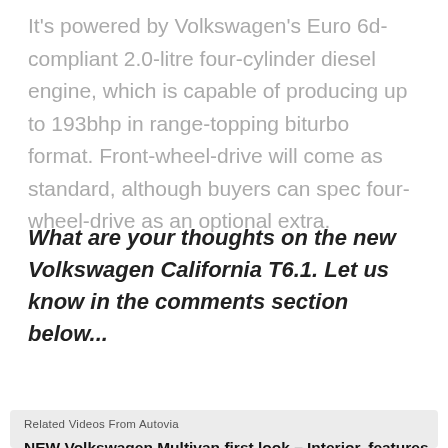It's powered by Volkswagen's Euro 6d-compliant 2.0-litre four-cylinder diesel engine, which is capable of producing up to 193bhp in range-topping biturbo format. Front-wheel-drive will come as standard, although buyers can spec four-wheel-drive as an optional extra.
What are your thoughts on the new Volkswagen California T6.1. Let us know in the comments section below...
Related Videos From Autovia
NEW Volkswagen Multivan first look – Interior, features
Advertisement
[Figure (other): Walgreens advertisement: 'Shop Walgreens Today / Walgreens Photo' with Walgreens logo W and blue arrow button]